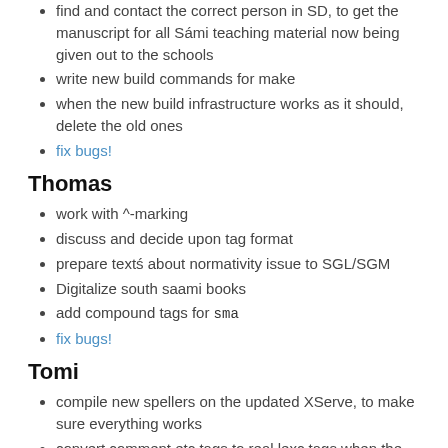find and contact the correct person in SD, to get the manuscript for all Sámi teaching material now being given out to the schools
write new build commands for make
when the new build infrastructure works as it should, delete the old ones
fix bugs!
Thomas
work with ^-marking
discuss and decide upon tag format
prepare textś about normativity issue to SGL/SGM
Digitalize south saami books
add compound tags for sma
fix bugs!
Tomi
compile new spellers on the updated XServe, to make sure everything works
convert comment etc tags to real lexc tags when the